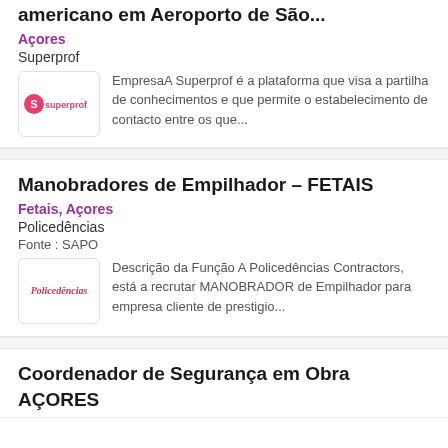americano em Aeroporto de São...
Açores
Superprof
EmpresaA Superprof é a plataforma que visa a partilha de conhecimentos e que permite o estabelecimento de contacto entre os que...
Manobradores de Empilhador – FETAIS
Fetais, Açores
Policedências
Fonte : SAPO
Descrição da Função A Policedências Contractors, está a recrutar MANOBRADOR de Empilhador para empresa cliente de prestigio...
Coordenador de Segurança em Obra
AÇORES